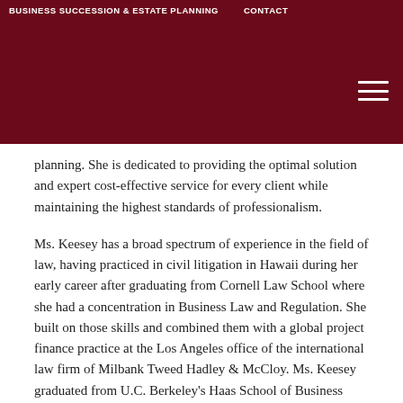BUSINESS SUCCESSION & ESTATE PLANNING   CONTACT
planning. She is dedicated to providing the optimal solution and expert cost-effective service for every client while maintaining the highest standards of professionalism.
Ms. Keesey has a broad spectrum of experience in the field of law, having practiced in civil litigation in Hawaii during her early career after graduating from Cornell Law School where she had a concentration in Business Law and Regulation. She built on those skills and combined them with a global project finance practice at the Los Angeles office of the international law firm of Milbank Tweed Hadley & McCloy. Ms. Keesey graduated from U.C. Berkeley's Haas School of Business with Honors